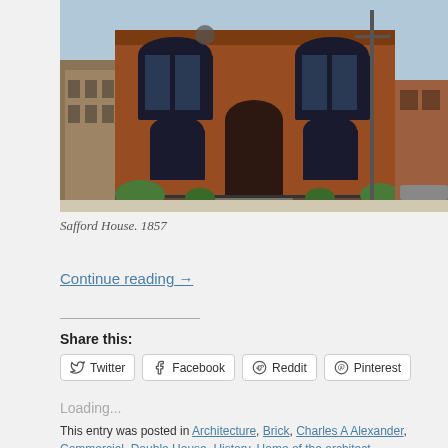[Figure (photo): Photograph of Safford House, a red brick Victorian building with arched windows, taken in 1857. Street scene with surrounding buildings visible.]
Safford House. 1857
Continue reading →
Share this:
Twitter Facebook Reddit Pinterest
Loading...
This entry was posted in Architecture, Brick, Charles A Alexander, Commercial, Double House, History, Home of the architect,